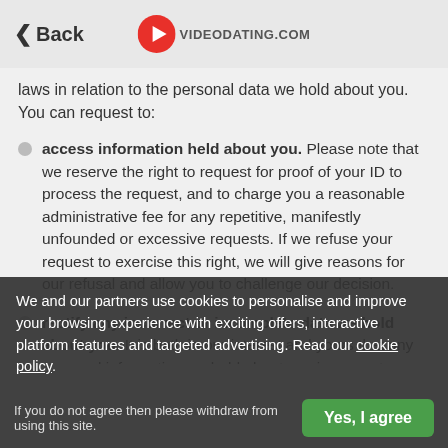Back | VIDEODATING.COM
laws in relation to the personal data we hold about you. You can request to:
access information held about you. Please note that we reserve the right to request for proof of your ID to process the request, and to charge you a reasonable administrative fee for any repetitive, manifestly unfounded or excessive requests. If we refuse your request to exercise this right, we will give reasons for our refusal and allow you to challenge our decision.
rectify any incorrect or incomplete data we hold about you. It is both in our interest and yours that any personal information we hold about you is accurate, complete and current. If the data
have your personal information corrected.
We and our partners use cookies to personalise and improve your browsing experience with exciting offers, interactive platform features and targeted advertising. Read our cookie policy.
If you do not agree then please withdraw from using this site.
Yes, I agree